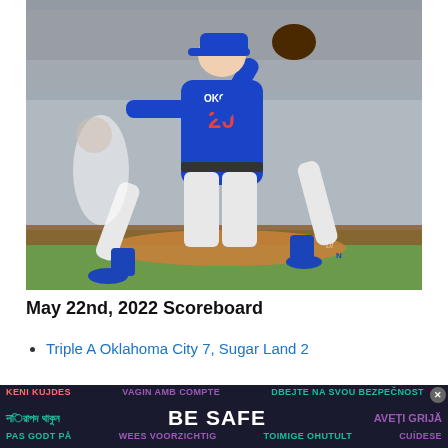[Figure (photo): A baseball pitcher in a blue Oklahoma City Dodgers uniform (#20) in mid-pitch delivery on the mound, wearing blue socks and cleats, with players and stadium stands blurred in the background.]
May 22nd, 2022 Scoreboard
Triple A Oklahoma City 7, Sugar Land 2
[Figure (infographic): BE SAFE multilingual safety banner with text in multiple languages and colors on a dark background: KENI KUJDES, VAGIN AMB COMPTE, DBEJTE NA SVOU BEZPECNOST, nirapod thakun (Bengali), BE SAFE, AVETI GRIJA, PAS GODT PA, WEES VOORZICHTIG, TOIMIGE OHUTULT, CUIDESE]